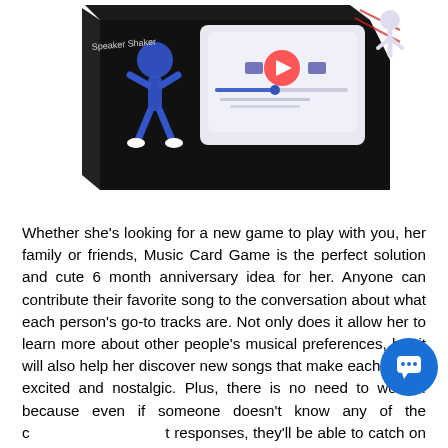[Figure (photo): A black box product (Music Card Game / Speaker Shaker) with illustrated blue dancing figure and a music player interface graphic on the side, shown at an angle on white background.]
Whether she's looking for a new game to play with you, her family or friends, Music Card Game is the perfect solution and cute 6 month anniversary idea for her. Anyone can contribute their favorite song to the conversation about what each person's go-to tracks are. Not only does it allow her to learn more about other people's musical preferences, but it will also help her discover new songs that make each player excited and nostalgic. Plus, there is no need to worry... because even if someone doesn't know any of the correct responses, they'll be able to catch on quickly!
Sony turntable that doubles as a Bluetooth